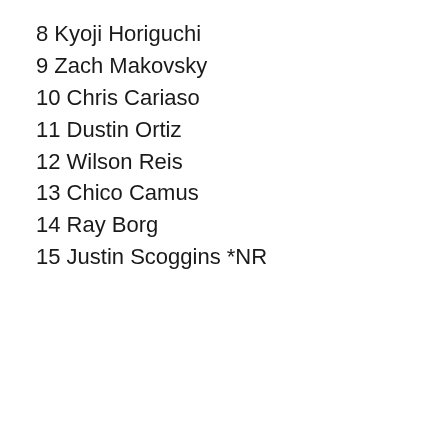8 Kyoji Horiguchi
9 Zach Makovsky
10 Chris Cariaso
11 Dustin Ortiz
12 Wilson Reis
13 Chico Camus
14 Ray Borg
15 Justin Scoggins *NR